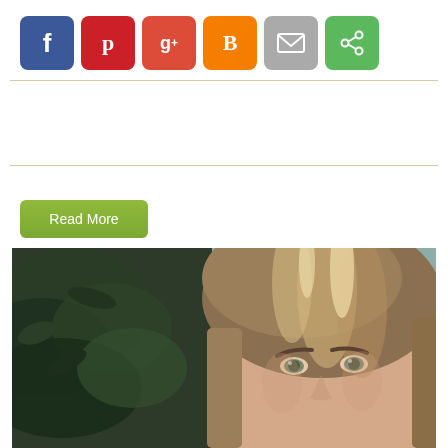[Figure (infographic): Row of six social media sharing buttons: Facebook (blue, f), Pinterest (red, p), Google+ (red, g+), Blogger (orange, B), Email (grey, envelope), Share (green, <)]
Read More
Search
[Figure (photo): Portrait photo of a blonde woman outdoors with green leafy background, cropped at forehead level showing face and hair]